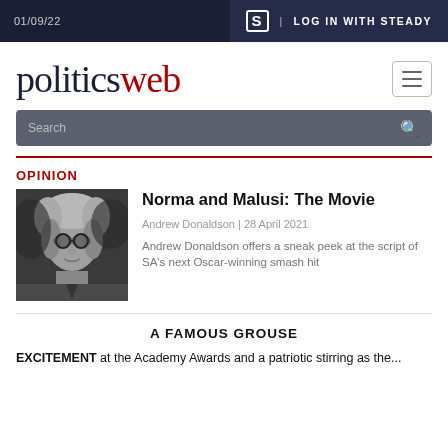01/09/22 | LOG IN WITH STEADY
politicsweb
Search
OPINION
[Figure (photo): Black and white portrait photo of Andrew Donaldson]
Norma and Malusi: The Movie
Andrew Donaldson | 28 April 2021
Andrew Donaldson offers a sneak peek at the script of SA's next Oscar-winning smash hit
A FAMOUS GROUSE
EXCITEMENT at the Academy Awards and a patriotic stirring as the...